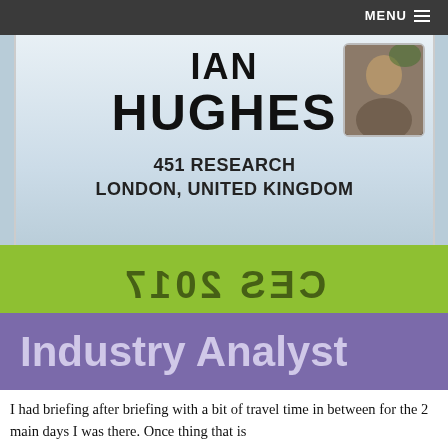MENU
[Figure (photo): CES 2017 conference badge for Ian Hughes from 451 Research, London, United Kingdom, with profile photo labeled EPREDATOR, overlaid with green CES 2017 wristband text (mirrored) and purple Industry Analyst wristband]
I had briefing after briefing with a bit of travel time in between for the 2 main days I was there. Once thing that is